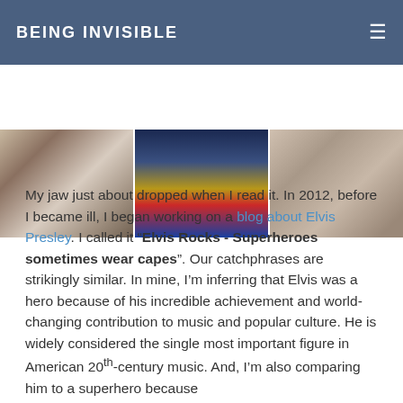BEING INVISIBLE
[Figure (photo): Three side-by-side photos: left shows a white sculptural or animal form in a gallery, center shows a person opening their shirt to reveal a Superman logo, right shows an ornate patterned textile or ceiling detail.]
My jaw just about dropped when I read it. In 2012, before I became ill, I began working on a blog about Elvis Presley. I called it “Elvis Rocks - Superheroes sometimes wear capes”. Our catchphrases are strikingly similar. In mine, I’m inferring that Elvis was a hero because of his incredible achievement and world-changing contribution to music and popular culture. He is widely considered the single most important figure in American 20th-century music. And, I’m also comparing him to a superhero because